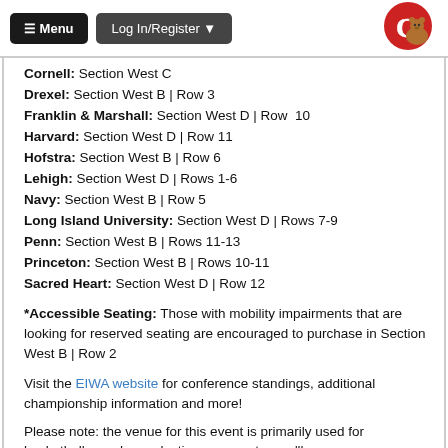≡ Menu   Log In/Register ▾
Cornell: Section West C
Drexel: Section West B | Row 3
Franklin & Marshall: Section West D | Row  10
Harvard: Section West D | Row 11
Hofstra: Section West B | Row 6
Lehigh: Section West D | Rows 1-6
Navy: Section West B | Row 5
Long Island University: Section West D | Rows 7-9
Penn: Section West B | Rows 11-13
Princeton: Section West B | Rows 10-11
Sacred Heart: Section West D | Row 12
*Accessible Seating: Those with mobility impairments that are looking for reserved seating are encouraged to purchase in Section West B | Row 2
Visit the EIWA website for conference standings, additional championship information and more!
Please note: the venue for this event is primarily used for basketball, so when selecting your seats, you'll see a venue